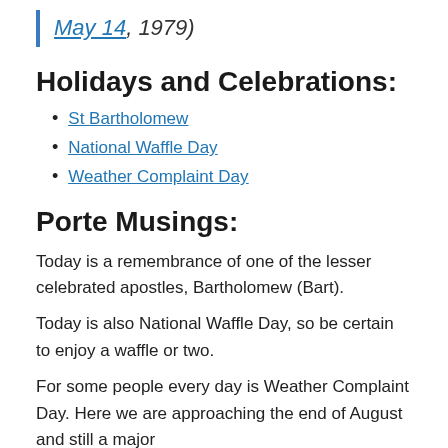May 14, 1979)
Holidays and Celebrations:
St Bartholomew
National Waffle Day
Weather Complaint Day
Porte Musings:
Today is a remembrance of one of the lesser celebrated apostles, Bartholomew (Bart).
Today is also National Waffle Day, so be certain to enjoy a waffle or two.
For some people every day is Weather Complaint Day. Here we are approaching the end of August and still a major